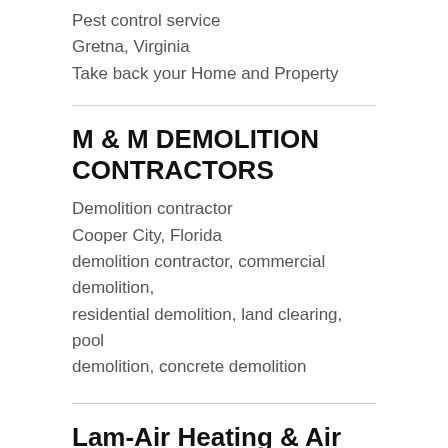Pest control service
Gretna, Virginia
Take back your Home and Property
M & M DEMOLITION CONTRACTORS
Demolition contractor
Cooper City, Florida
demolition contractor, commercial demolition, residential demolition, land clearing, pool demolition, concrete demolition
Lam-Air Heating & Air